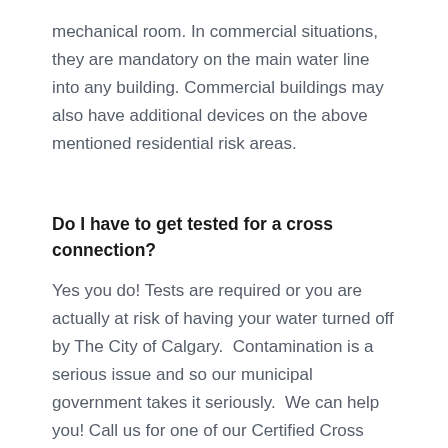mechanical room. In commercial situations, they are mandatory on the main water line into any building. Commercial buildings may also have additional devices on the above mentioned residential risk areas.
Do I have to get tested for a cross connection?
Yes you do! Tests are required or you are actually at risk of having your water turned off by The City of Calgary.  Contamination is a serious issue and so our municipal government takes it seriously.  We can help you! Call us for one of our Certified Cross Connection Testers to come and give...